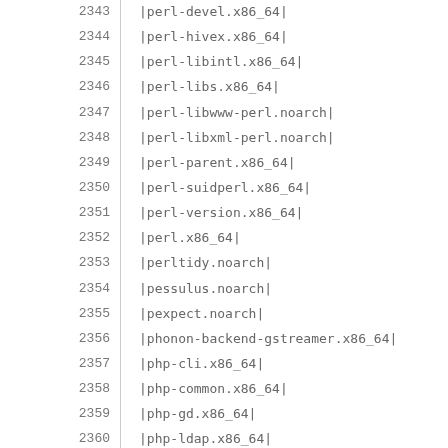| # | Package |
| --- | --- |
| 2343 | |perl-devel.x86_64| |
| 2344 | |perl-hivex.x86_64| |
| 2345 | |perl-libintl.x86_64| |
| 2346 | |perl-libs.x86_64| |
| 2347 | |perl-libwww-perl.noarch| |
| 2348 | |perl-libxml-perl.noarch| |
| 2349 | |perl-parent.x86_64| |
| 2350 | |perl-suidperl.x86_64| |
| 2351 | |perl-version.x86_64| |
| 2352 | |perl.x86_64| |
| 2353 | |perltidy.noarch| |
| 2354 | |pessulus.noarch| |
| 2355 | |pexpect.noarch| |
| 2356 | |phonon-backend-gstreamer.x86_64| |
| 2357 | |php-cli.x86_64| |
| 2358 | |php-common.x86_64| |
| 2359 | |php-gd.x86_64| |
| 2360 | |php-ldap.x86_64| |
| 2361 | |php-mysql.x86_64| |
| 2362 | |php-odbc.x86_64| |
| 2363 | |php-pdo.x86_64| |
| 2364 | |php-pear.noarch| |
| 2365 | |php-pecl-apc.x86_64| |
| 2366 | |php-pecl-memcache.x86_64| |
| 2367 | |php-pgsql.x86_64| |